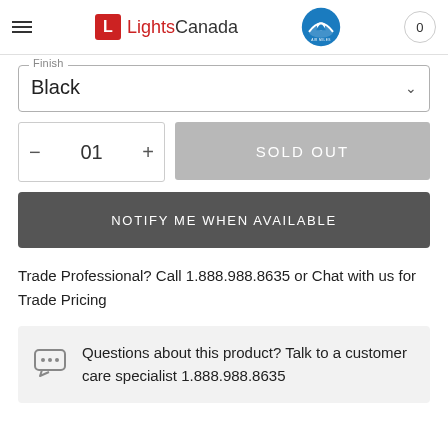LightsCanada – header with logo, Air Miles, and cart
Finish
Black
01  SOLD OUT
NOTIFY ME WHEN AVAILABLE
Trade Professional? Call 1.888.988.8635 or Chat with us for Trade Pricing
Questions about this product? Talk to a customer care specialist 1.888.988.8635